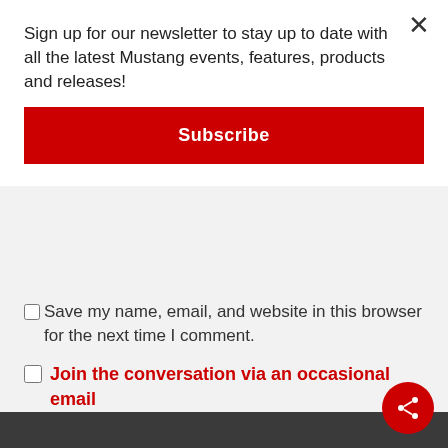Sign up for our newsletter to stay up to date with all the latest Mustang events, features, products and releases!
Subscribe
Save my name, email, and website in this browser for the next time I comment.
Join the conversation via an occasional email
SUBMIT COMMENT